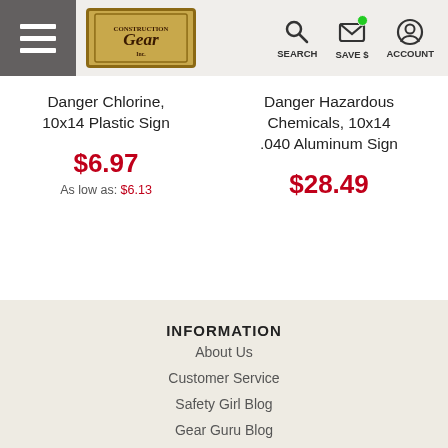Construction Gear — SEARCH SAVE $ ACCOUNT
Danger Chlorine, 10x14 Plastic Sign
$6.97
As low as: $6.13
Danger Hazardous Chemicals, 10x14 .040 Aluminum Sign
$28.49
INFORMATION
About Us
Customer Service
Safety Girl Blog
Gear Guru Blog
Wholesale
Sitemap